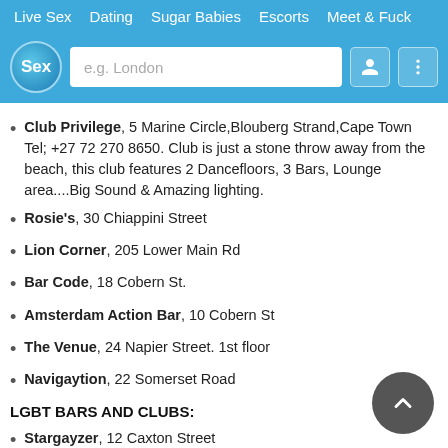Live Sex  Dating  Sugar Babies  Escorts  Meet & Fuck
Club Privilege, 5 Marine Circle,Blouberg Strand,Cape Town Tel; +27 72 270 8650. Club is just a stone throw away from the beach, this club features 2 Dancefloors, 3 Bars, Lounge area....Big Sound & Amazing lighting.
Rosie's, 30 Chiappini Street
Lion Corner, 205 Lower Main Rd
Bar Code, 18 Cobern St.
Amsterdam Action Bar, 10 Cobern St
The Venue, 24 Napier Street. 1st floor
Navigaytion, 22 Somerset Road
LGBT BARS AND CLUBS:
Stargayzer, 12 Caxton Street
Garbo's Bar, 1 Link Road. Parklands Centre, Shop 7
Bubbles Bar, 125A Waterkant Street Tel: +27 (0)72 277 2392. Amazing atmosphere, slightly